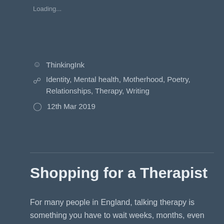Loading...
ThinkingInk
Identity, Mental health, Motherhood, Poetry, Relationships, Therapy, Writing
12th Mar 2019
Shopping for a Therapist
For many people in England, talking therapy is something you have to wait weeks, months, even years to receive on the NHS. For others, however, paying for therapy is an option. But when you go looking for private therapy, how do